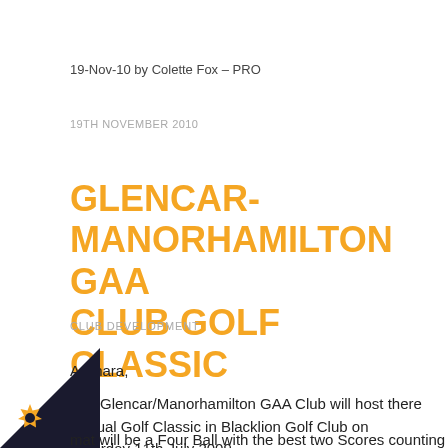19-Nov-10 by Colette Fox – PRO
19TH NOVEMBER 2010
GLENCAR-MANORHAMILTON GAA CLUB GOLF CLASSIC
CLUB DEVELOPMENT
A Chara,
The Glencar/Manorhamilton GAA Club will host there Annual Golf Classic in Blacklion Golf Club on Saturday 11th July 2009.
mat will be a Four Ball with the best two Scores counting